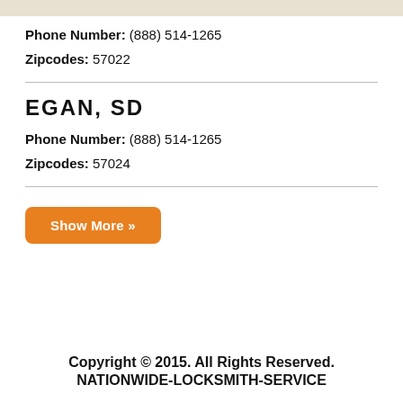Phone Number: (888) 514-1265
Zipcodes: 57022
EGAN, SD
Phone Number: (888) 514-1265
Zipcodes: 57024
Show More »
Copyright © 2015. All Rights Reserved.
NATIONWIDE-LOCKSMITH-SERVICE